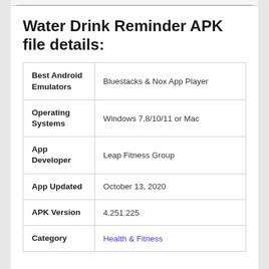Water Drink Reminder APK file details:
| Best Android Emulators | Bluestacks & Nox App Player |
| Operating Systems | Windows 7,8/10/11 or Mac |
| App Developer | Leap Fitness Group |
| App Updated | October 13, 2020 |
| APK Version | 4.251.225 |
| Category | Health & Fitness |